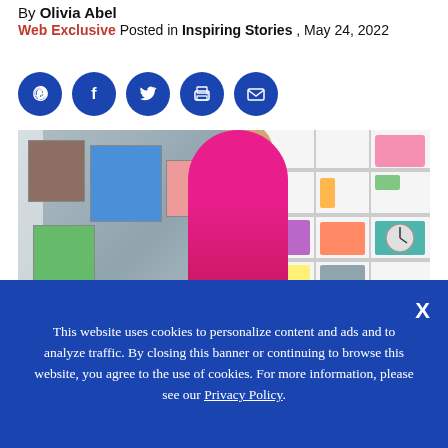By Olivia Abel Web Exclusive Posted in Inspiring Stories , May 24, 2022
[Figure (infographic): Five blue circular social media/sharing icons: Pinterest, Facebook, Twitter, Print, Email]
[Figure (photo): Photo of a smiling older woman in a pink/magenta top, standing in a craft room with quilts on the wall and shelving units with sewing supplies behind her.]
This website uses cookies to personalize content and ads and to analyze traffic. By closing this banner or continuing to browse this website, you agree to the use of cookies. For more information, please see our Privacy Policy.